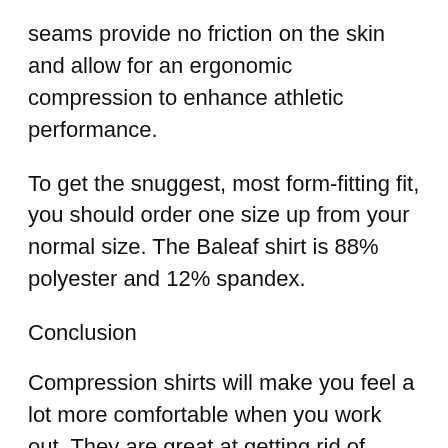seams provide no friction on the skin and allow for an ergonomic compression to enhance athletic performance.
To get the snuggest, most form-fitting fit, you should order one size up from your normal size. The Baleaf shirt is 88% polyester and 12% spandex.
Conclusion
Compression shirts will make you feel a lot more comfortable when you work out. They are great at getting rid of sweat and providing warmth and muscular support. Let our reviewed products serve as your buying